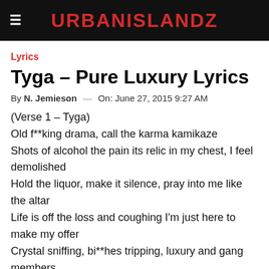URBANISLANDZ
Lyrics
Tyga – Pure Luxury Lyrics
By N. Jemieson — On: June 27, 2015 9:27 AM
(Verse 1 – Tyga)
Old f**king drama, call the karma kamikaze
Shots of alcohol the pain its relic in my chest, I feel demolished
Hold the liquor, make it silence, pray into me like the altar
Life is off the loss and coughing I'm just here to make my offer
Crystal sniffing, bi**hes tripping, luxury and gang members
Wanna be like Boyz N Hood, affiliated by my brothers
Worship higher powers, smokes inpolished, drinking from